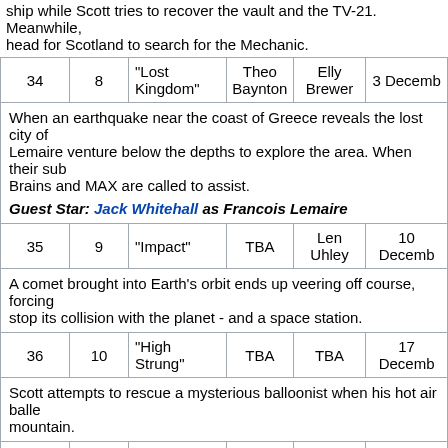ship while Scott tries to recover the vault and the TV-21. Meanwhile, head for Scotland to search for the Mechanic.
| # | Ep | Title | Writer | Director | Airdate |
| --- | --- | --- | --- | --- | --- |
| 34 | 8 | "Lost Kingdom" | Theo Baynton | Elly Brewer | 3 Decemb... |
| When an earthquake near the coast of Greece reveals the lost city of... Lemaire venture below the depths to explore the area. When their su... Brains and MAX are called to assist.
Guest Star: Jack Whitehall as Francois Lemaire |
| 35 | 9 | "Impact" | TBA | Len Uhley | 10 Decemb... |
| A comet brought into Earth's orbit ends up veering off course, forcing... stop its collision with the planet - and a space station. |
| 36 | 10 | "High Strung" | TBA | TBA | 17 Decemb... |
| Scott attempts to rescue a mysterious balloonist when his hot air balle... mountain. |
| 37 | 11 | "Weather or Not" | TBA | TBA | 24 Decemb... |
| The team travels to Langstrom Fischler's newest invention to stop a h... drones. |
Reception
Fans and critics reacted very positively to the new series, despite some reservations from fans of the original series. [48][49][50]